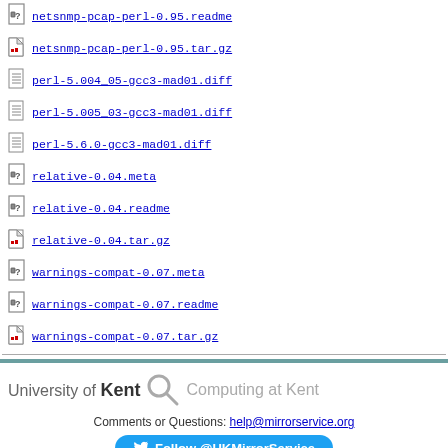netsnmp-pcap-perl-0.95.readme
netsnmp-pcap-perl-0.95.tar.gz
perl-5.004_05-gcc3-mad01.diff
perl-5.005_03-gcc3-mad01.diff
perl-5.6.0-gcc3-mad01.diff
relative-0.04.meta
relative-0.04.readme
relative-0.04.tar.gz
warnings-compat-0.07.meta
warnings-compat-0.07.readme
warnings-compat-0.07.tar.gz
[Figure (logo): University of Kent - Computing at Kent logo with magnifying glass icon]
Comments or Questions: help@mirrorservice.org
Follow @UKMirrorService
copernicus